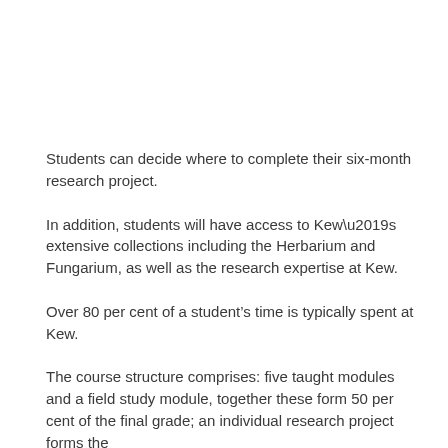Students can decide where to complete their six-month research project.
In addition, students will have access to Kew’s extensive collections including the Herbarium and Fungarium, as well as the research expertise at Kew.
Over 80 per cent of a student’s time is typically spent at Kew.
The course structure comprises: five taught modules and a field study module, together these form 50 per cent of the final grade; an individual research project forms the